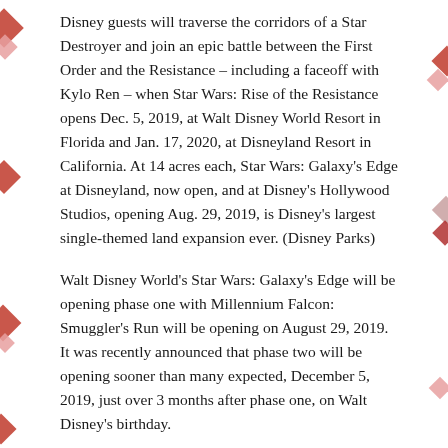Disney guests will traverse the corridors of a Star Destroyer and join an epic battle between the First Order and the Resistance – including a faceoff with Kylo Ren – when Star Wars: Rise of the Resistance opens Dec. 5, 2019, at Walt Disney World Resort in Florida and Jan. 17, 2020, at Disneyland Resort in California. At 14 acres each, Star Wars: Galaxy's Edge at Disneyland, now open, and at Disney's Hollywood Studios, opening Aug. 29, 2019, is Disney's largest single-themed land expansion ever. (Disney Parks)
Walt Disney World's Star Wars: Galaxy's Edge will be opening phase one with Millennium Falcon: Smuggler's Run will be opening on August 29, 2019. It was recently announced that phase two will be opening sooner than many expected, December 5, 2019, just over 3 months after phase one, on Walt Disney's birthday.